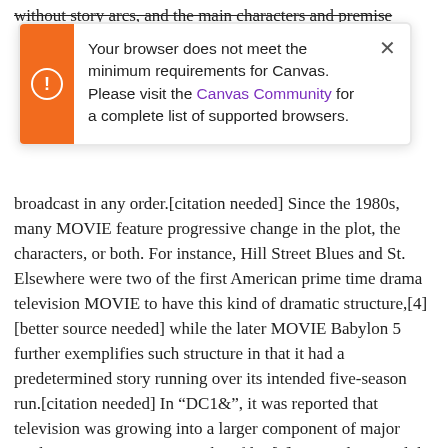without story arcs, and the main characters and premise
[Figure (screenshot): Browser notification modal with orange left bar and exclamation icon. Text reads: 'Your browser does not meet the minimum requirements for Canvas. Please visit the Canvas Community for a complete list of supported browsers.' with a close X button.]
broadcast in any order.[citation needed] Since the 1980s, many MOVIE feature progressive change in the plot, the characters, or both. For instance, Hill Street Blues and St. Elsewhere were two of the first American prime time drama television MOVIE to have this kind of dramatic structure,[4] [better source needed] while the later MOVIE Babylon 5 further exemplifies such structure in that it had a predetermined story running over its intended five-season run.[citation needed] In “DC1&”, it was reported that television was growing into a larger component of major media companies’ revenues than film.[5] Some also noted the increase in quality of some television programs. In “DC1&”, Academy-Award-winning film director Steven Soderbergh, commenting on ambiguity and complexity of character and narrative, stated: “I think those qualities are